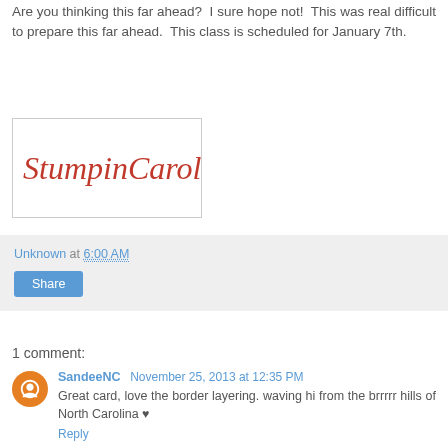the foam mounting tape to get the height I wanted.
Are you thinking this far ahead?  I sure hope not!  This was real difficult to prepare this far ahead.  This class is scheduled for January 7th.
[Figure (illustration): Handwritten-style signature reading 'StumpinCarol' in red cursive script inside a white box with a light gray border]
Unknown at 6:00 AM
Share
1 comment:
SandeeNC November 25, 2013 at 12:35 PM
Great card, love the border layering. waving hi from the brrrrr hills of North Carolina ♥
Reply